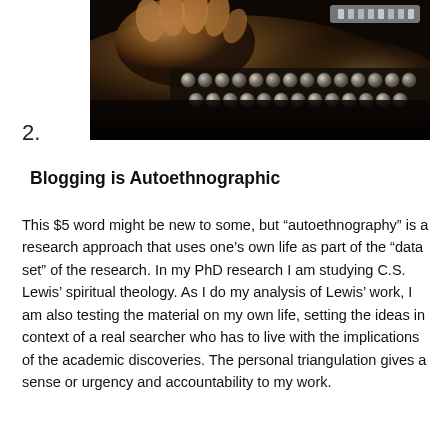[Figure (photo): Close-up photograph of hands typing on a vintage/antique typewriter, showing the keys and mechanical parts in dark, moody lighting]
2.
Blogging is Autoethnographic
This $5 word might be new to some, but “autoethnography” is a research approach that uses one’s own life as part of the “data set” of the research. In my PhD research I am studying C.S. Lewis’ spiritual theology. As I do my analysis of Lewis’ work, I am also testing the material on my own life, setting the ideas in context of a real searcher who has to live with the implications of the academic discoveries. The personal triangulation gives a sense or urgency and accountability to my work.